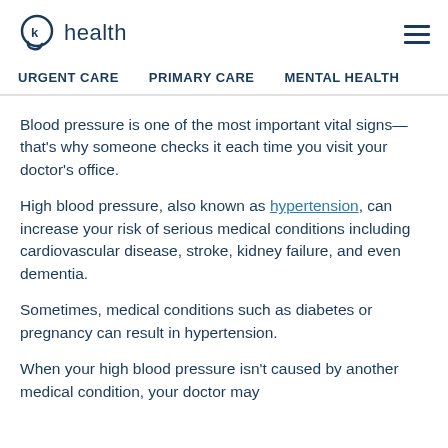k health  ☰
URGENT CARE   PRIMARY CARE   MENTAL HEALTH
Blood pressure is one of the most important vital signs—that's why someone checks it each time you visit your doctor's office.
High blood pressure, also known as hypertension, can increase your risk of serious medical conditions including cardiovascular disease, stroke, kidney failure, and even dementia.
Sometimes, medical conditions such as diabetes or pregnancy can result in hypertension.
When your high blood pressure isn't caused by another medical condition, your doctor may